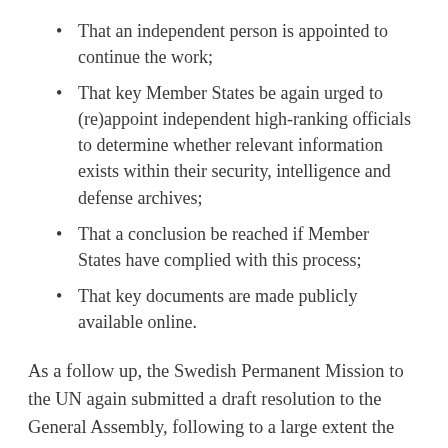That an independent person is appointed to continue the work;
That key Member States be again urged to (re)appoint independent high-ranking officials to determine whether relevant information exists within their security, intelligence and defense archives;
That a conclusion be reached if Member States have complied with this process;
That key documents are made publicly available online.
As a follow up, the Swedish Permanent Mission to the UN again submitted a draft resolution to the General Assembly, following to a large extent the recommendations by re-appointing Justice Othman as the Eminent Person to continue the